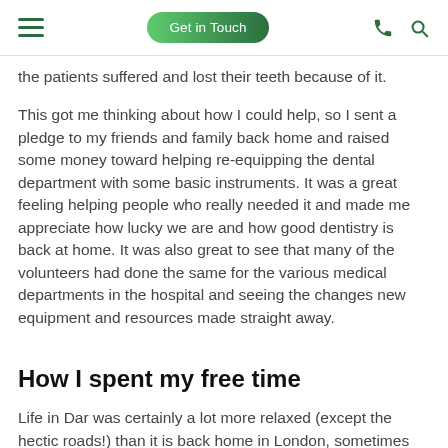Get in Touch
the patients suffered and lost their teeth because of it.
This got me thinking about how I could help, so I sent a pledge to my friends and family back home and raised some money toward helping re-equipping the dental department with some basic instruments. It was a great feeling helping people who really needed it and made me appreciate how lucky we are and how good dentistry is back at home. It was also great to see that many of the volunteers had done the same for the various medical departments in the hospital and seeing the changes new equipment and resources made straight away.
How I spent my free time
Life in Dar was certainly a lot more relaxed (except the hectic roads!) than it is back home in London, sometimes